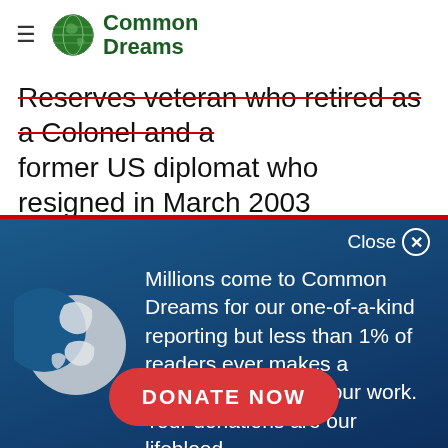Common Dreams
Reserves veteran who retired as a Colonel and a former US diplomat who resigned in March 2003 in opposition to the war on Iraq. She served in Nicaragua, Grenada, Somalia, Uzbekistan,
Close ✕
Millions come to Common Dreams for our one-of-a-kind reporting but less than 1% of readers ever makes a donation to support our work. Your donations are our lifeblood.
DONATE NOW